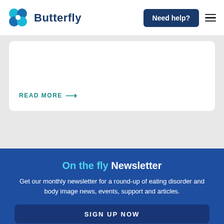Butterfly | Need help?
READ MORE →
On the fly Newsletter
Get our monthly newsletter for a round-up of eating disorder and body image news, events, support and articles.
SIGN UP NOW